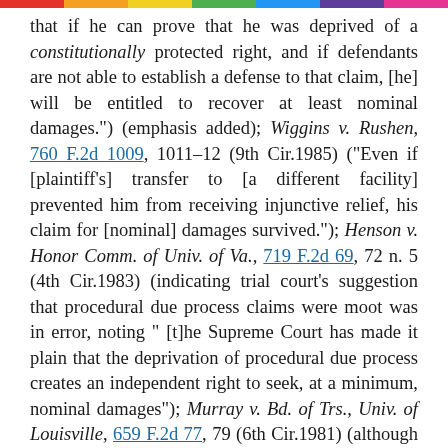that if he can prove that he was deprived of a constitutionally protected right, and if defendants are not able to establish a defense to that claim, [he] will be entitled to recover at least nominal damages.") (emphasis added); Wiggins v. Rushen, 760 F.2d 1009, 1011-12 (9th Cir.1985) ("Even if [plaintiff's] transfer to [a different facility] prevented him from receiving injunctive relief, his claim for [nominal] damages survived."); Henson v. Honor Comm. of Univ. of Va., 719 F.2d 69, 72 n. 5 (4th Cir.1983) (indicating trial court's suggestion that procedural due process claims were moot was in error, noting "[t]he Supreme Court has made it plain that the deprivation of procedural due process creates an independent right to seek, at a minimum, nominal damages"); Murray v. Bd. of Trs., Univ. of Louisville, 659 F.2d 77, 79 (6th Cir.1981) (although claims for declaratory and injunctive relief were moot, and dismissal of plaintiff's claim for actual damages was not clearly